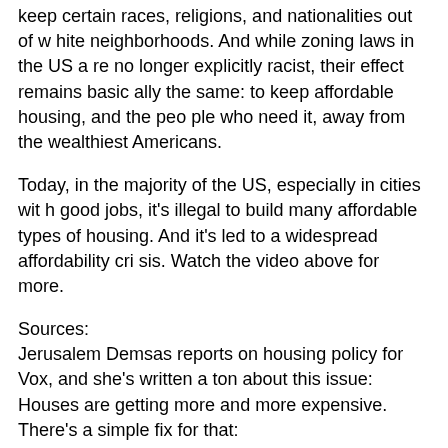keep certain races, religions, and nationalities out of white neighborhoods. And while zoning laws in the US are no longer explicitly racist, their effect remains basically the same: to keep affordable housing, and the people who need it, away from the wealthiest Americans.
Today, in the majority of the US, especially in cities with good jobs, it's illegal to build many affordable types of housing. And it's led to a widespread affordability crisis. Watch the video above for more.
Sources:
Jerusalem Demsas reports on housing policy for Vox, and she's written a ton about this issue:
Houses are getting more and more expensive. There's a simple fix for that: https://www.vox.com/22464801/housing-bubble-market-crash-supply-shortage-great-recession
What it'll take to fix America's housing rules: https://w